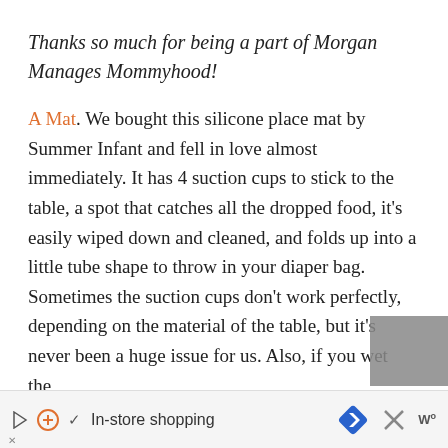Thanks so much for being a part of Morgan Manages Mommyhood!
A Mat. We bought this silicone place mat by Summer Infant and fell in love almost immediately. It has 4 suction cups to stick to the table, a spot that catches all the dropped food, it’s easily wiped down and cleaned, and folds up into a little tube shape to throw in your diaper bag. Sometimes the suction cups don’t work perfectly, depending on the material of the table, but it’s never been a huge issue for us. Also, if you wet the
In-store shopping